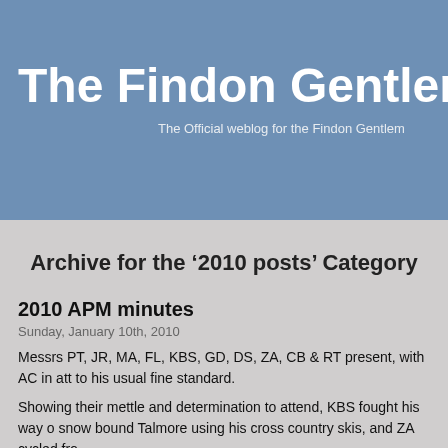The Findon Gentlemen
The Official weblog for the Findon Gentlemen
Archive for the ‘2010 posts’ Category
2010 APM minutes
Sunday, January 10th, 2010
Messrs PT, JR, MA, FL, KBS, GD, DS, ZA, CB & RT present, with AC in att to his usual fine standard.
Showing their mettle and determination to attend, KBS fought his way o snow bound Talmore using his cross country skis, and ZA cycled fro